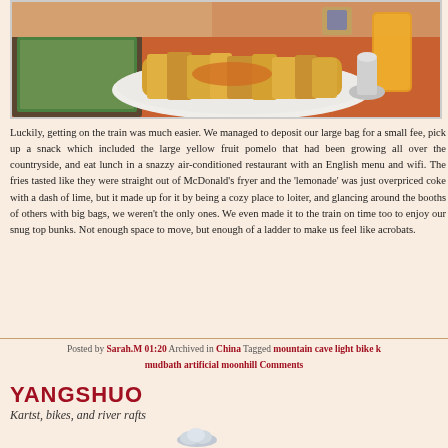[Figure (photo): Photo of a plate of french fries on a restaurant table with a drink and menu visible]
Luckily, getting on the train was much easier. We managed to deposit our large bag for a small fee, pick up a snack which included the large yellow fruit pomelo that had been growing all over the countryside, and eat lunch in a snazzy air-conditioned restaurant with an English menu and wifi. The fries tasted like they were straight out of McDonald's fryer and the 'lemonade' was just overpriced coke with a dash of lime, but it made up for it by being a cozy place to loiter, and glancing around the booths of others with big bags, we weren't the only ones. We even made it to the train on time too to enjoy our snug top bunks. Not enough space to move, but enough of a ladder to make us feel like acrobats.
Posted by Sarah.M 01:20 Archived in China Tagged mountain cave light bike k mudbath artificial moonhill Comments
YANGSHUO
Kartst, bikes, and river rafts